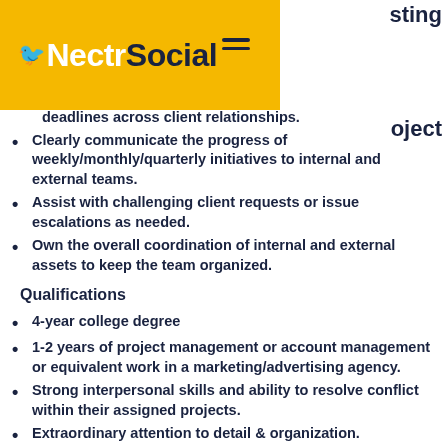[Figure (logo): NectrSocial logo on yellow/gold background with bird icon and hamburger menu]
...project deadlines across client relationships.
Clearly communicate the progress of weekly/monthly/quarterly initiatives to internal and external teams.
Assist with challenging client requests or issue escalations as needed.
Own the overall coordination of internal and external assets to keep the team organized.
Qualifications
4-year college degree
1-2 years of project management or account management or equivalent work in a marketing/advertising agency.
Strong interpersonal skills and ability to resolve conflict within their assigned projects.
Extraordinary attention to detail & organization.
...